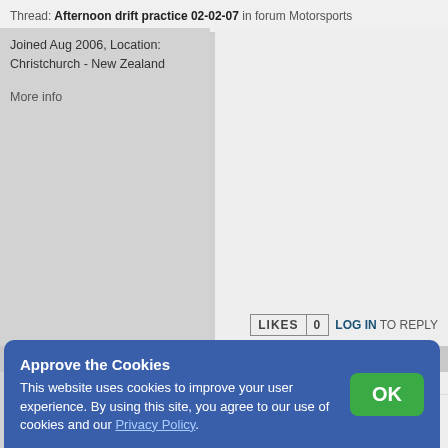Thread: Afternoon drift practice 02-02-07 in forum Motorsports
Joined Aug 2006, Location: Christchurch - New Zealand
More info
LIKES 0  LOG IN TO REPLY
More info
crayfish13
Senior Member
607 posts, Joined Jan 2007, Location: Canada
More info
Feb 02, 2007 23:53 | #6
All awesome shoots I liked them all
LIKES 0  LOG IN TO REPLY
Approve the Cookies
This website uses cookies to improve your user experience. By using this site, you agree to our use of cookies and our Privacy Policy.